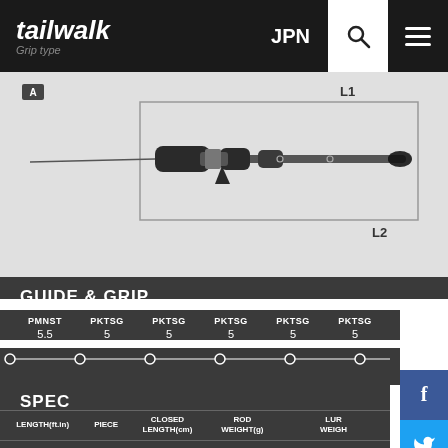tailwalk  Grip type  JPN
[Figure (engineering-diagram): Fishing rod diagram showing full rod length (L1) and partial grip length (L2) with label A at the tip end]
GUIDE & GRIP
PMNST 5.5
PKTSG 5
PKTSG 5
PKTSG 5
PKTSG 5
PKTSG 5
SPEC
| LENGTH(ft.in) | PIECE | CLOSED LENGTH(cm) | ROD WEIGHT(g) | LURE WEIGHT |
| --- | --- | --- | --- | --- |
| 6.3 | 1 | 191 | 108 | SPJ/MAX180 |